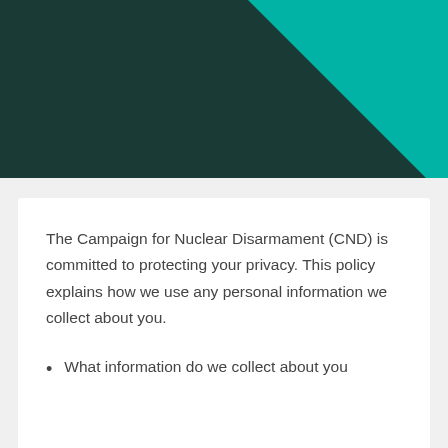[Figure (illustration): Dark teal/green header background with a bright teal triangular shape in the top-right corner, forming a geometric design element.]
The Campaign for Nuclear Disarmament (CND) is committed to protecting your privacy. This policy explains how we use any personal information we collect about you.
What information do we collect about you